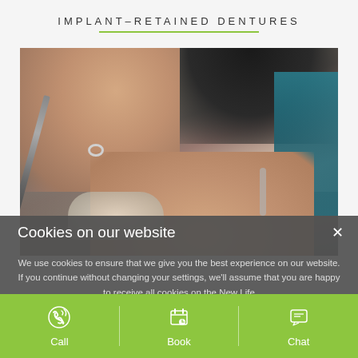IMPLANT-RETAINED DENTURES
[Figure (photo): Close-up photo of two hands working on a dental implant or denture in a lab setting. One hand holds an instrument while the other holds a dental mold. A ring is visible on one finger and a bracelet on the other wrist. Dark sleeve visible at top. Teal fabric on right side.]
Cookies on our website
We use cookies to ensure that we give you the best experience on our website. If you continue without changing your settings, we'll assume that you are happy to receive all cookies on the New Life
Call   Book   Chat